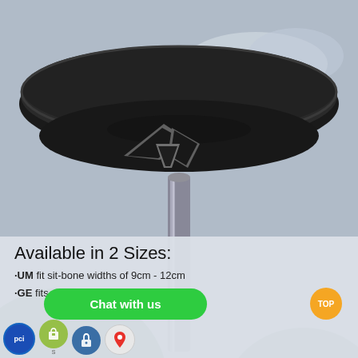[Figure (photo): Close-up of a black bicycle saddle from below, showing the carbon rail and saddle underside with a stylized logo, with a scenic mountain lake background.]
Available in 2 Sizes:
MEDIUM fit sit-bone widths of 9cm - 12cm
LARGE fits sit-bone widths of 12cm - 16cm
[Figure (other): Chat with us button (green pill), TOP button (orange circle), and icon row: PCI, Shopify, lock, map pin logos at bottom.]